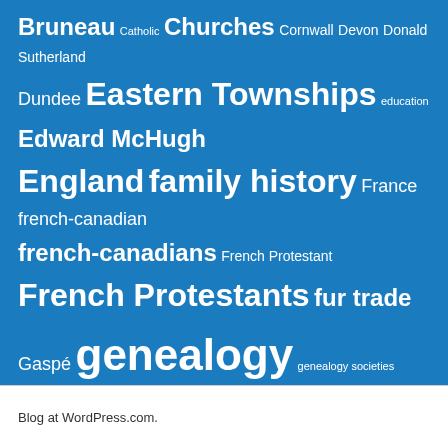[Figure (infographic): Tag cloud on blue background with various genealogy and history-related terms in different font sizes. Terms include: Bruneau, Catholic, Churches, Cornwall, Devon, Donald Sutherland, Dundee, Eastern Townships, education, Edward McHugh, England, family history, France, french-canadian, french-canadians, French Protestant, French Protestants, fur trade, Gaspé, genealogy, genealogy societies, German churches, Greece, grenfell international, history, Immigration, Irish, Ismael Bruneau, Jules Crepeau, Lower Canada, Loyalists, Lucy H. Anglin, Marguerite Lindsay, McHugh, merchants, Miss Lindsay, Montreal, Montreal City Hall, Mormons, New France, Nixon, notaries, notary, Plymouth, Plymouth Devon, QFHS, Quebec, Quebec City, Quebec Family History Society, Raguin, Rene Raguin, research, Richmond, Scotland, seigneuries, sharing, Social history, Susan Dodds, Sutherland, Switzerland, T.G. Hamilton, Thomas McHugh, Tinos, Toronto, William Sutherland, women, ww2, WWI, WWII]
Blog at WordPress.com.